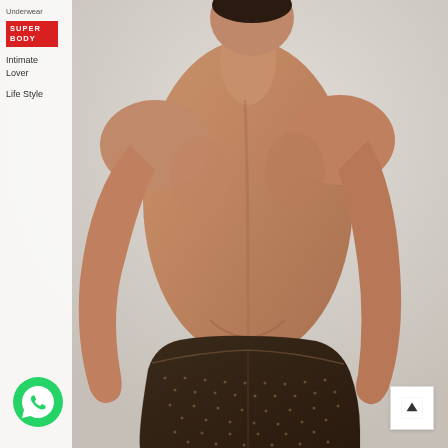[Figure (photo): Product photo of a muscular male model shown from behind, wearing dark brown mesh/dotted shorts underwear, against a light grey background. The model has a well-defined back and arms.]
Underwear
[Figure (logo): SUPER BODY logo in white text on red rectangular background]
Intimate Lover
Life Style
[Figure (illustration): Green circular WhatsApp button with white phone/chat icon]
[Figure (illustration): White square scroll-to-top button with upward arrow icon]